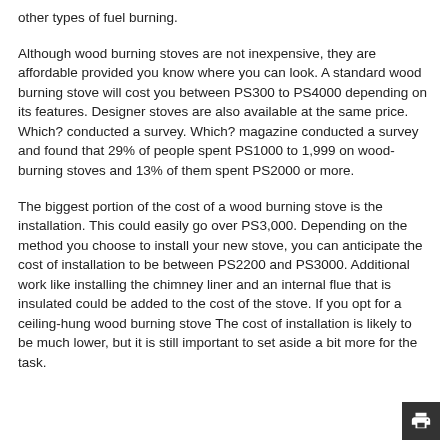other types of fuel burning.
Although wood burning stoves are not inexpensive, they are affordable provided you know where you can look. A standard wood burning stove will cost you between PS300 to PS4000 depending on its features. Designer stoves are also available at the same price. Which? conducted a survey. Which? magazine conducted a survey and found that 29% of people spent PS1000 to 1,999 on wood-burning stoves and 13% of them spent PS2000 or more.
The biggest portion of the cost of a wood burning stove is the installation. This could easily go over PS3,000. Depending on the method you choose to install your new stove, you can anticipate the cost of installation to be between PS2200 and PS3000. Additional work like installing the chimney liner and an internal flue that is insulated could be added to the cost of the stove. If you opt for a ceiling-hung wood burning stove The cost of installation is likely to be much lower, but it is still important to set aside a bit more for the task.